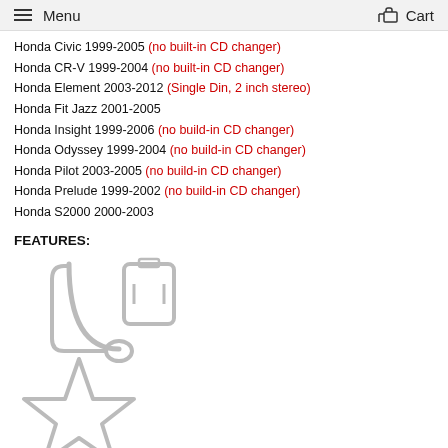Menu  Cart
Honda Civic 1999-2005 (no built-in CD changer)
Honda CR-V 1999-2004 (no built-in CD changer)
Honda Element 2003-2012 (Single Din, 2 inch stereo)
Honda Fit Jazz 2001-2005
Honda Insight 1999-2006 (no build-in CD changer)
Honda Odyssey 1999-2004 (no build-in CD changer)
Honda Pilot 2003-2005 (no build-in CD changer)
Honda Prelude 1999-2002 (no build-in CD changer)
Honda S2000 2000-2003
FEATURES:
[Figure (illustration): USB connector icon (cable with rectangular connector plug)]
[Figure (illustration): Star icon (outline star shape)]
Hands Free: operate phone calls, voice dial (Optional Sold